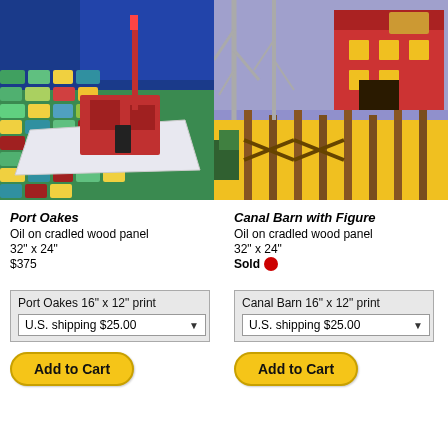[Figure (illustration): Painting of a red sailboat on colorful water, Port Oakes]
[Figure (illustration): Painting of a canal barn with figure, red barn on stilts over water]
Port Oakes
Oil on cradled wood panel
32" x 24"
$375
Canal Barn with Figure
Oil on cradled wood panel
32" x 24"
Sold
Port Oakes 16" x 12" print
U.S. shipping $25.00
Add to Cart
Canal Barn 16" x 12" print
U.S. shipping $25.00
Add to Cart